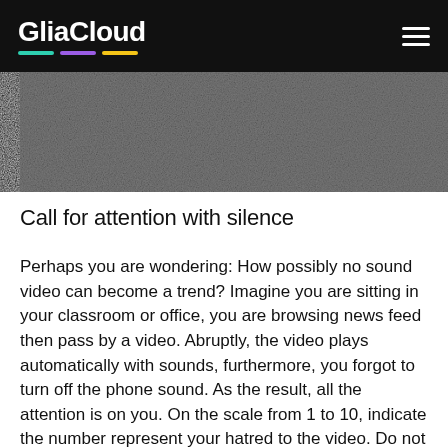GliaCloud
[Figure (photo): Partial view of a noisy/static TV screen image with white and teal circular shapes in the upper right corner against a black background]
Call for attention with silence
Perhaps you are wondering: How possibly no sound video can become a trend? Imagine you are sitting in your classroom or office, you are browsing news feed then pass by a video. Abruptly, the video plays automatically with sounds, furthermore, you forgot to turn off the phone sound. As the result, all the attention is on you. On the scale from 1 to 10, indicate the number represent your hatred to the video. Do not worry, you are not the only one give the number 11 or 100. Loud sound ads may attract customer but at the same time create negative responses. A report from Facebook indicated that 80% of the viewers and